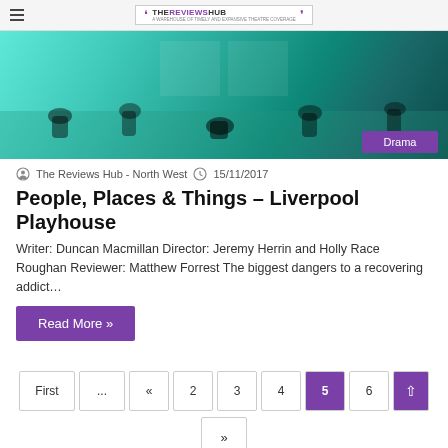THE REVIEWS HUB - A WAREHOUSE OF TIMELY AND EXPANSIVE THEATRE COVERAGE
[Figure (photo): Stage performance photo with actors crouching and moving on a teal/green lit stage. Drama badge in bottom right.]
The Reviews Hub - North West  15/11/2017
People, Places & Things – Liverpool Playhouse
Writer: Duncan Macmillan Director: Jeremy Herrin and Holly Race Roughan Reviewer: Matthew Forrest The biggest dangers to a recovering addict…
Read More »
First ... « 2 3 4 5 6 ↑ »